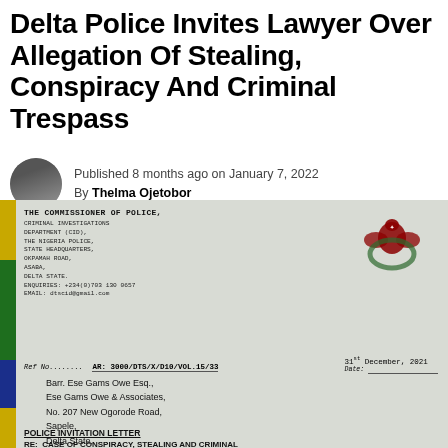Delta Police Invites Lawyer Over Allegation Of Stealing, Conspiracy And Criminal Trespass
Published 8 months ago on January 7, 2022
By Thelma Ojetobor
[Figure (photo): Scanned police invitation letter from the Commissioner of Police, Criminal Investigations Department (CID), The Nigeria Police, State Headquarters, Okpamah Road, Asaba, Delta State. Addressed to Barr. Ese Gams Owe Esq., Ese Gams Owe & Associates, No. 207 New Ogorode Road, Sapele, Delta State. Ref No: AR: 3000/DTS/X/D10/VOL.15/33. Date: 31st December, 2021. Subject: Police Invitation Letter RE: Case of Conspiracy, Stealing and Criminal Trespass.]